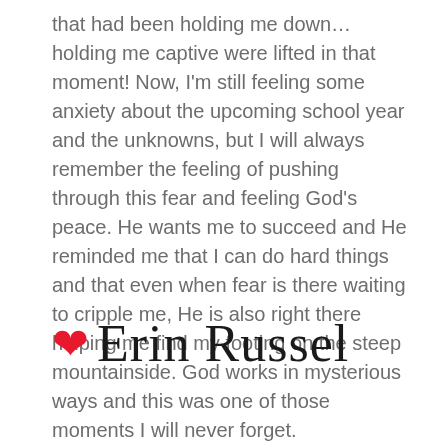that had been holding me down… holding me captive were lifted in that moment! Now, I'm still feeling some anxiety about the upcoming school year and the unknowns, but I will always remember the feeling of pushing through this fear and feeling God's peace. He wants me to succeed and He reminded me that I can do hard things and that even when fear is there waiting to cripple me, He is also right there helping me find my footing on the steep mountainside. God works in mysterious ways and this was one of those moments I will never forget.
❤ Erin Russel